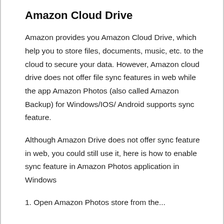Amazon Cloud Drive
Amazon provides you Amazon Cloud Drive, which help you to store files, documents, music, etc. to the cloud to secure your data. However, Amazon cloud drive does not offer file sync features in web while the app Amazon Photos (also called Amazon Backup) for Windows/IOS/ Android supports sync feature.
Although Amazon Drive does not offer sync feature in web, you could still use it, here is how to enable sync feature in Amazon Photos application in Windows
1. Open Amazon Photos store from the...